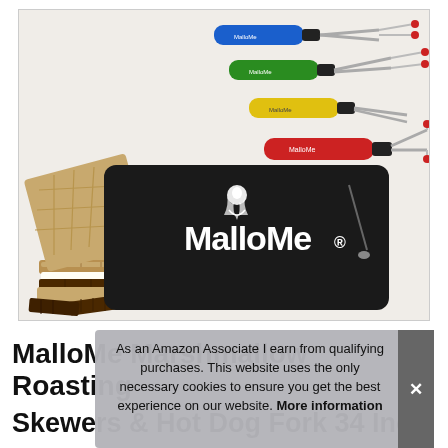[Figure (photo): Product photo of MalloMe marshmallow roasting sticks set: four telescoping forks with colored handles (blue, green, yellow, red), a black zipper bag branded MalloMe with campfire logo, and stacked s'mores with chocolate and graham crackers in the foreground.]
As an Amazon Associate I earn from qualifying purchases. This website uses the only necessary cookies to ensure you get the best experience on our website. More information
MalloMe Marshmallow Roasting Skewers & Hot Dog Fork 34 Inch